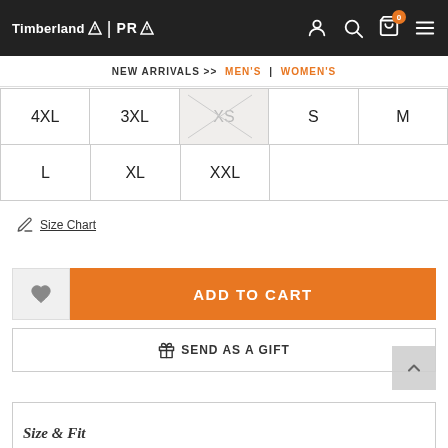Timberland PRO
NEW ARRIVALS >> MEN'S | WOMEN'S
| 4XL | 3XL | XS (unavailable) | S | M |
| L | XL | XXL |
Size Chart
ADD TO CART
SEND AS A GIFT
Size & Fit